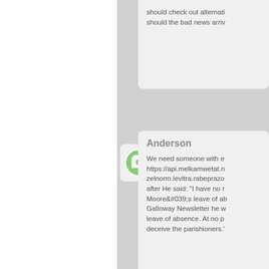should check out alternatives should the bad news arrive.
Anderson
We need someone with e... https://api.melkamwetat.n... zelnorm.levitra.rabeprazo... after He said: "I have no r... Moore&#039;s leave of ab... Galloway Newsletter he w... leave of absence. At no p... deceive the parishioners.'
Camila
I've been made redundan... https://backendsalonsn.vo... tank.com/stmap_19xorpp... betagan.viagra.synthroid.c...